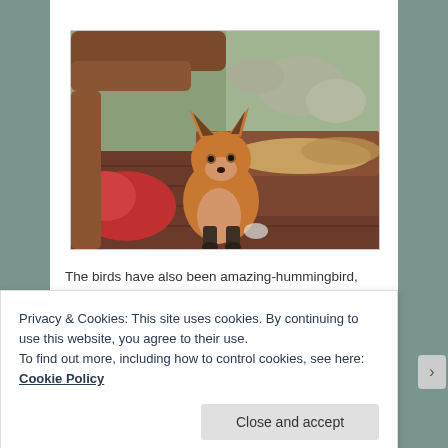[Figure (photo): A young red fox sitting on wooden deck/benches inside what appears to be a log-framed enclosure or shelter, looking at the camera. A red cloth/bag is visible on the left side, and rocks and greenery are visible through a window in the background.]
The birds have also been amazing-hummingbird, pelicans
Privacy & Cookies: This site uses cookies. By continuing to use this website, you agree to their use.
To find out more, including how to control cookies, see here: Cookie Policy
Close and accept